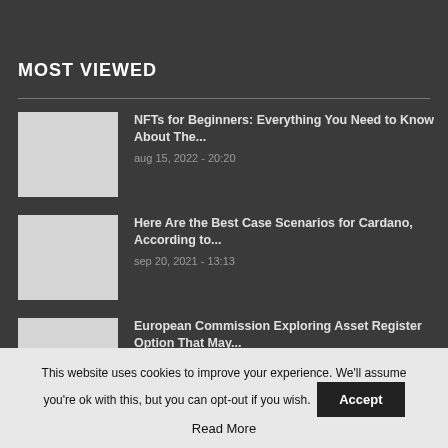MOST VIEWED
NFTs for Beginners: Everything You Need to Know About The... aug 15, 2022 - 20:20
Here Are the Best Case Scenarios for Cardano, According to... sep 20, 2021 - 13:13
European Commission Exploring Asset Register Option That May...
This website uses cookies to improve your experience. We'll assume you're ok with this, but you can opt-out if you wish. Accept Read More